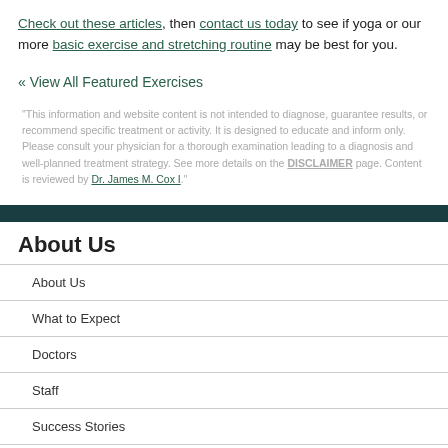Check out these articles, then contact us today to see if yoga or our more basic exercise and stretching routine may be best for you.
« View All Featured Exercises
"This information and website content is not intended to diagnose, guarantee results, or recommend specific treatment or activity. It is designed to educate and inform only. Please consult your physician for a thorough examination leading to a diagnosis and well-planned treatment strategy. See more details on the DISCLAIMER page. Content is reviewed by Dr. James M. Cox I."
About Us
About Us
What to Expect
Doctors
Staff
Success Stories